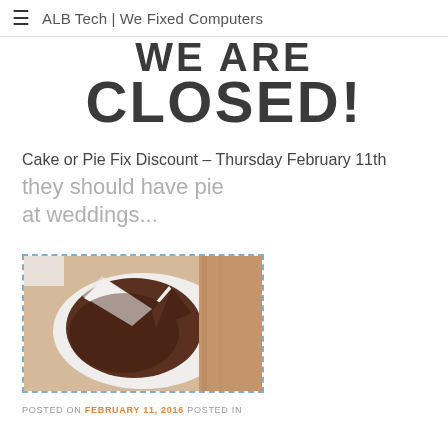ALB Tech | We Fixed Computers
WE ARE CLOSED!
Cake or Pie Fix Discount – Thursday February 11th
they should have pie at weddings...
[Figure (photo): Photo of a chocolate pie/cake on a white plate with slices cut out, placed on a wooden surface. Shown inside a dashed blue border.]
POSTED ON FEBRUARY 11, 2016 POSTED IN